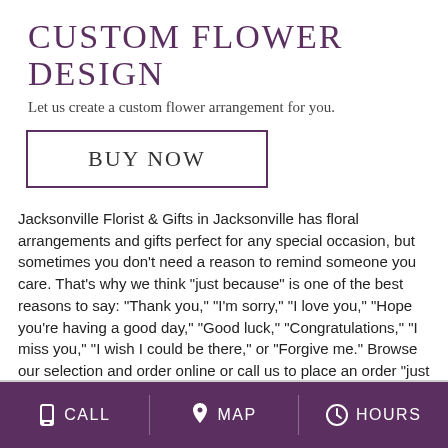CUSTOM FLOWER DESIGN
Let us create a custom flower arrangement for you.
BUY NOW
Jacksonville Florist & Gifts in Jacksonville has floral arrangements and gifts perfect for any special occasion, but sometimes you don't need a reason to remind someone you care. That's why we think "just because" is one of the best reasons to say: "Thank you," "I'm sorry," "I love you," "Hope you're having a good day," "Good luck," "Congratulations," "I miss you," "I wish I could be there," or "Forgive me." Browse our selection and order online or call us to place an order "just because!"
CALL  MAP  HOURS